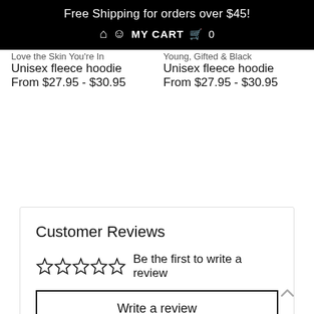Free Shipping for orders over $45!
MY CART 0
Love the Skin You're In
Unisex fleece hoodie
From $27.95 - $30.95
Young, Gifted & Black
Unisex fleece hoodie
From $27.95 - $30.95
Customer Reviews
Be the first to write a review
Write a review